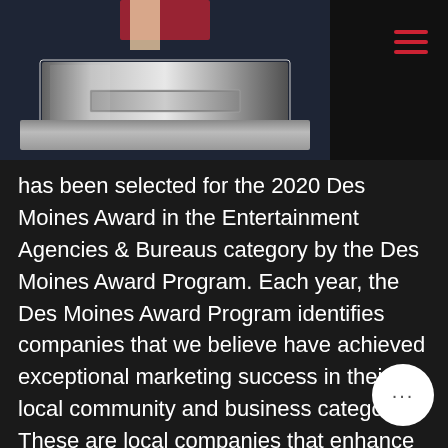[Figure (photo): A crystal/acrylic award trophy on a dark blue surface, partially visible at top. A hand appears at the top holding something.]
has been selected for the 2020 Des Moines Award in the Entertainment Agencies & Bureaus category by the Des Moines Award Program. Each year, the Des Moines Award Program identifies companies that we believe have achieved exceptional marketing success in their local community and business category. These are local companies that enhance the positive image of small business through service to their customers and our community. These exceptional companies help make the Des Moines area a great place to work and play.